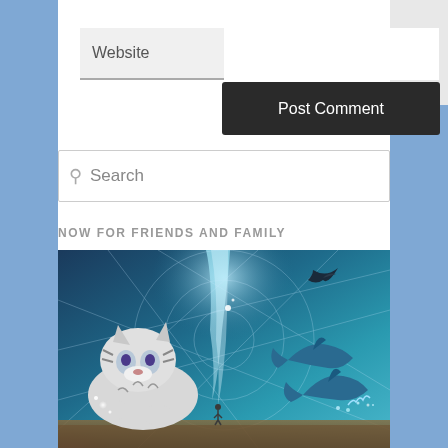Website
Post Comment
Search
NOW FOR FRIENDS AND FAMILY
[Figure (illustration): Fantasy digital art illustration featuring a white tiger on the left, dolphins jumping on the right, a glowing waterfall in the center background, geometric light lines overlaid, a dark bird flying upper right, and a small human figure at the bottom center, all in blue and teal tones.]